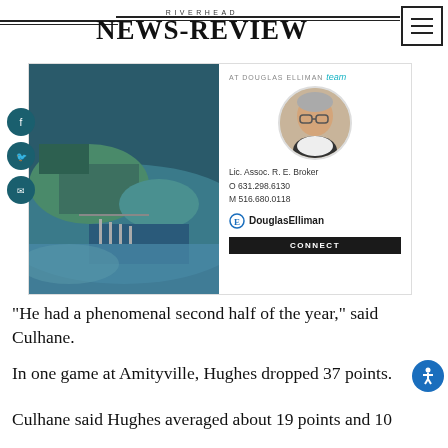RIVERHEAD NEWS-REVIEW
[Figure (photo): Advertisement for Douglas Elliman real estate broker featuring aerial photo of waterfront and agent headshot with contact info: Lic. Assoc. R. E. Broker, O 631.298.6130, M 516.680.0118, DouglasElliman, CONNECT button]
“He had a phenomenal second half of the year,” said Culhane.
In one game at Amityville, Hughes dropped 37 points.
Culhane said Hughes averaged about 19 points and 10